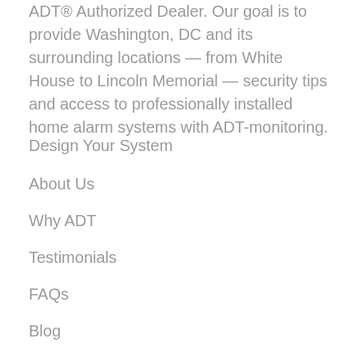ADT® Authorized Dealer. Our goal is to provide Washington, DC and its surrounding locations — from White House to Lincoln Memorial — security tips and access to professionally installed home alarm systems with ADT-monitoring.
Design Your System
About Us
Why ADT
Testimonials
FAQs
Blog